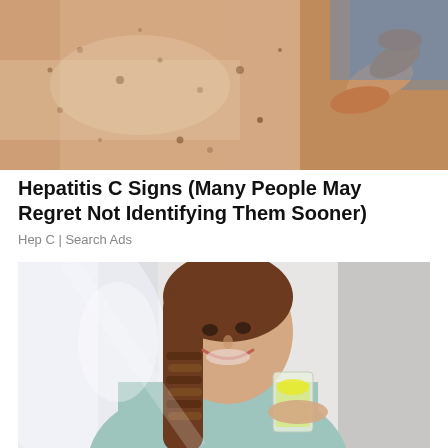[Figure (photo): Close-up photo of a person's skin being examined by a doctor's hand, showing freckles and spots on the skin surface]
Hepatitis C Signs (Many People May Regret Not Identifying Them Sooner)
Hep C | Search Ads
[Figure (photo): Young smiling woman with long brown braided hair wearing a light blue sweater, holding a glass of lemon water or citrus drink, sitting near a window with bright light]